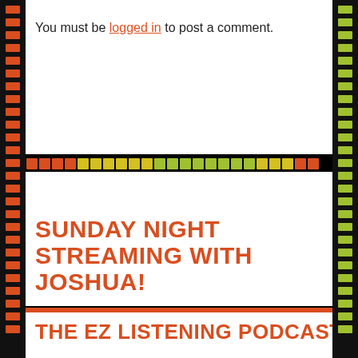You must be logged in to post a comment.
SUNDAY NIGHT STREAMING WITH JOSHUA!
ubernerd527 is offline.
Learn more about them on their channel!
[Figure (screenshot): Twitch embedded player showing Visit ubernerd527 link and Twitch logo controls]
THE EZ LISTENING PODCAST